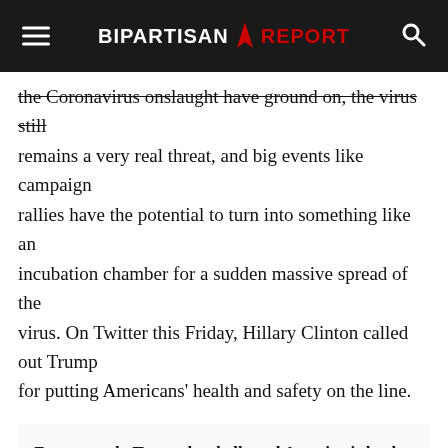BIPARTISAN REPORT
the Coronavirus onslaught have ground on, the virus still remains a very real threat, and big events like campaign rallies have the potential to turn into something like an incubation chamber for a sudden massive spread of the virus. On Twitter this Friday, Hillary Clinton called out Trump for putting Americans' health and safety on the line.
For a month, Trump has bellowed America is back, business needs to open, it's OK it's safe, wear a mask (or don't, like me). Now his campaign tells those signing up to a rally, they have to sign a waiver not to sue. Hypocrisy so brazen, it borders on something else. You choose.

— Duty To Warn 🔔 (@duty2warn) June 12, 2020